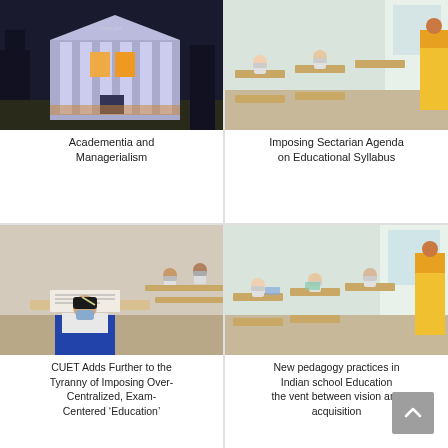[Figure (photo): Night photo of a building with classical columns, illuminated facade with dark trees]
Academentia and Managerialism
[Figure (photo): Students in a classroom wearing face masks, seated at wooden desks, with a teacher in a yellow sari visible at the side]
Imposing Sectarian Agenda on Educational Syllabus
[Figure (photo): A student wearing a mask and blue vest writing at a desk during an exam]
CUET Adds Further to the Tyranny of Imposing Over-Centralized, Exam-Centered ‘Education’
[Figure (photo): Students in a classroom wearing face masks at wooden desks with a teacher in a yellow sari at the side]
New pedagogy practices in Indian school Education the vent between vision and acquisition